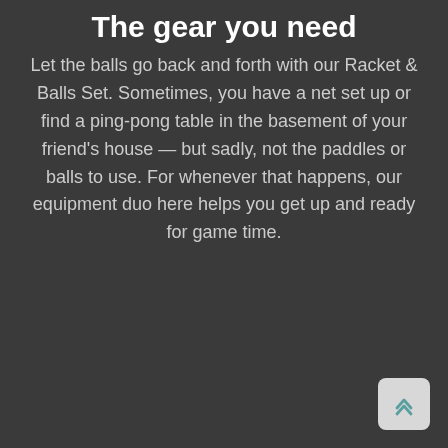The gear you need
Let the balls go back and forth with our Racket & Balls Set. Sometimes, you have a net set up or find a ping-pong table in the basement of your friend's house — but sadly, not the paddles or balls to use. For whenever that happens, our equipment duo here helps you get up and ready for game time.